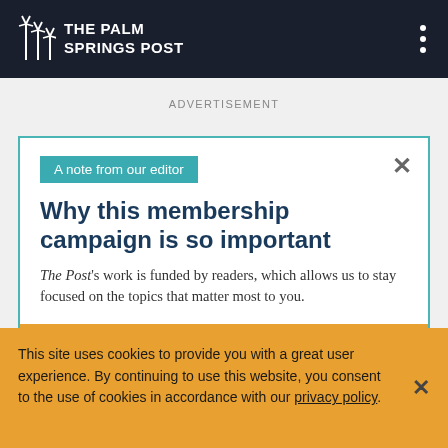THE PALM SPRINGS POST
ADVERTISEMENT
A note from our editor
Why this membership campaign is so important
The Post's work is funded by readers, which allows us to stay focused on the topics that matter most to you.
Read more →
This site uses cookies to provide you with a great user experience. By continuing to use this website, you consent to the use of cookies in accordance with our privacy policy.